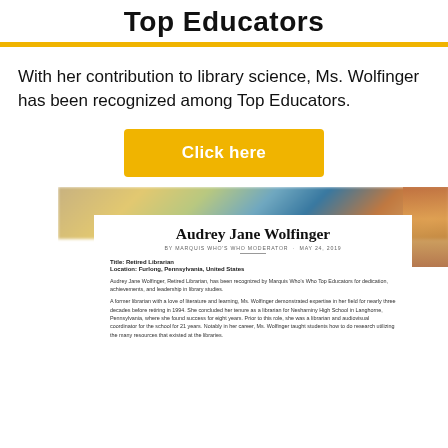Top Educators
With her contribution to library science, Ms. Wolfinger has been recognized among Top Educators.
Click here
[Figure (screenshot): A profile page screenshot showing 'Audrey Jane Wolfinger' with a blurred books background. The card shows: Title: Retired Librarian, Location: Furlong, Pennsylvania, United States. Body text describes her recognition by Marquis Who's Who Top Educators for dedication, achievements, and leadership in library studies, and her career as a librarian for nearly three decades.]